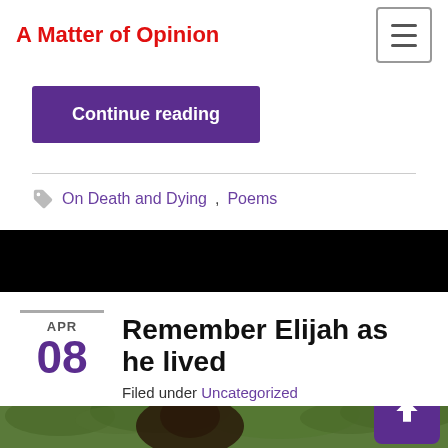A Matter of Opinion
Continue reading
On Death and Dying, Poems
Remember Elijah as he lived
Filed under Uncategorized
[Figure (photo): Outdoor photo of a young man with green trees/foliage in the background]